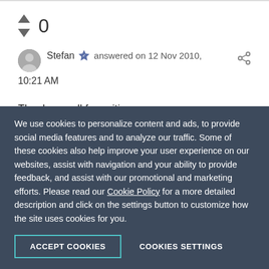[Figure (other): Vote arrows (up and down triangles) with vote count 0]
Stefan answered on 12 Nov 2010, 10:21 AM
Thank you all for writing.
Emanuel stated what the situation is and what you can
We use cookies to personalize content and ads, to provide social media features and to analyze our traffic. Some of these cookies also help improve your user experience on our websites, assist with navigation and your ability to provide feedback, and assist with our promotional and marketing efforts. Please read our Cookie Policy for a more detailed description and click on the settings button to customize how the site uses cookies for you.
ACCEPT COOKIES
COOKIES SETTINGS